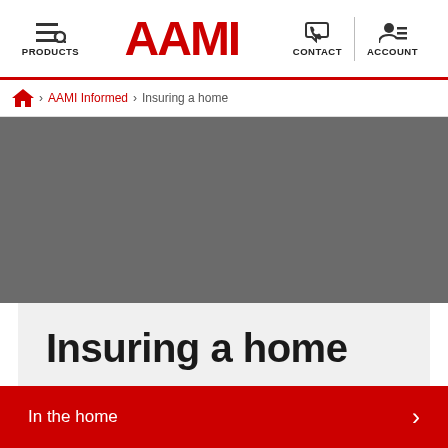PRODUCTS | AAMI | CONTACT | ACCOUNT
Home > AAMI Informed > Insuring a home
[Figure (photo): Dark grey hero image area, likely a photo of a home]
Insuring a home
In the home >